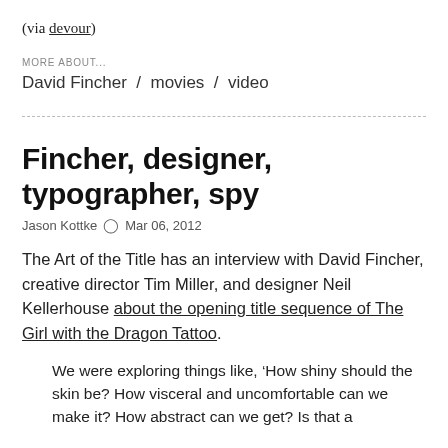(via devour)
MORE ABOUT...
David Fincher / movies / video
Fincher, designer, typographer, spy
Jason Kottke  ⊙  Mar 06, 2012
The Art of the Title has an interview with David Fincher, creative director Tim Miller, and designer Neil Kellerhouse about the opening title sequence of The Girl with the Dragon Tattoo.
We were exploring things like, 'How shiny should the skin be? How visceral and uncomfortable can we make it? How abstract can we get? Is that a